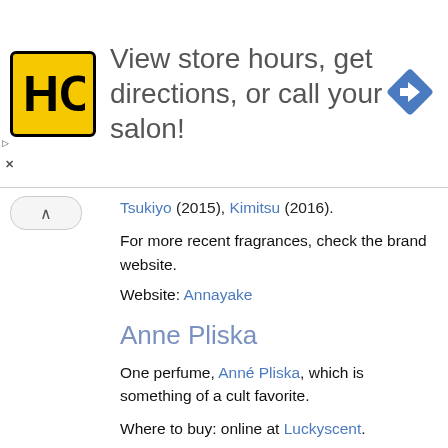[Figure (infographic): Advertisement banner with HC logo (yellow background, black H and C letters), text 'View store hours, get directions, or call your salon!' in grey, and a blue diamond direction icon on the right.]
Tsukiyo (2015), Kimitsu (2016).
For more recent fragrances, check the brand website.
Website: Annayake
Anne Pliska
One perfume, Anné Pliska, which is something of a cult favorite.
Where to buy: online at Luckyscent.
Annick Goutal
Ann Gérard
Paris jeweler Ann Gérard launched her debut